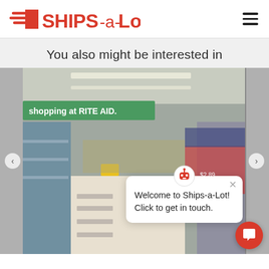SHIPS-a-Lot
You also might be interested in
[Figure (photo): Interior of a Rite Aid store aisle with 'shopping at RITE AID.' sign visible, shelves of products, and shopping carts in foreground. A chat popup overlay reads 'Welcome to Ships-a-Lot! Click to get in touch.' with a close button and a robot/person icon. A red circular chat button appears in the bottom right corner. Carousel left and right arrows visible on sides.]
Welcome to Ships-a-Lot! Click to get in touch.